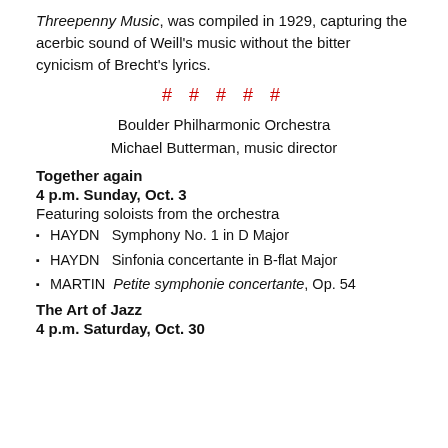Threepenny Music, was compiled in 1929, capturing the acerbic sound of Weill's music without the bitter cynicism of Brecht's lyrics.
# # # # #
Boulder Philharmonic Orchestra
Michael Butterman, music director
Together again
4 p.m. Sunday, Oct. 3
Featuring soloists from the orchestra
HAYDN  Symphony No. 1 in D Major
HAYDN  Sinfonia concertante in B-flat Major
MARTIN  Petite symphonie concertante, Op. 54
The Art of Jazz
4 p.m. Saturday, Oct. 30